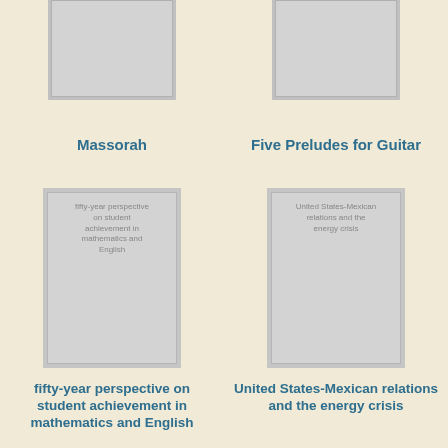[Figure (illustration): Partial book cover - Massorah, top portion visible]
Massorah
[Figure (illustration): Partial book cover - Five Preludes for Guitar, top portion visible]
Five Preludes for Guitar
[Figure (illustration): Book cover placeholder with text: fifty-year perspective on student achievement in mathematics and English]
fifty-year perspective on student achievement in mathematics and English
[Figure (illustration): Book cover placeholder with text: United States-Mexican relations and the energy crisis]
United States-Mexican relations and the energy crisis
[Figure (photo): Partial book cover visible at bottom of page - left column]
[Figure (photo): Partial book cover visible at bottom of page - right column]